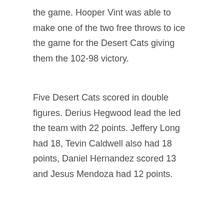the game. Hooper Vint was able to make one of the two free throws to ice the game for the Desert Cats giving them the 102-98 victory.
Five Desert Cats scored in double figures. Derius Hegwood lead the led the team with 22 points. Jeffery Long had 18, Tevin Caldwell also had 18 points, Daniel Hernandez scored 13 and Jesus Mendoza had 12 points.
After the game Desert Cats head coach Jesus Aragon talked about the game.
[Figure (screenshot): Video thumbnail with black background showing EP logo (circular gold badge) and text 'Southwest Desert Cats Head Co...' with a vertical menu icon on the right]